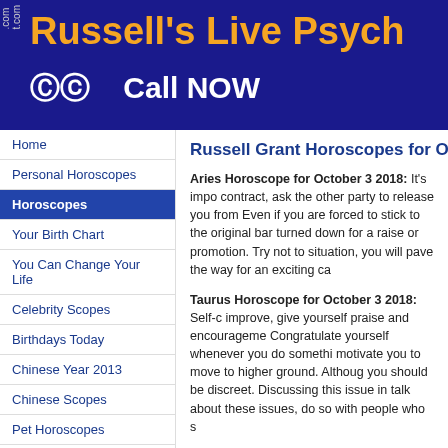Russell's Live Psych
Russell Grant Horoscopes for Octo
Home
Personal Horoscopes
Horoscopes
Your Birth Chart
You Can Change Your Life
Celebrity Scopes
Birthdays Today
Chinese Year 2013
Chinese Scopes
Pet Horoscopes
Zodiac Women
Aries Horoscope for October 3 2018: It's impo... contract, ask the other party to release you from... Even if you are forced to stick to the original bar... turned down for a raise or promotion. Try not to... situation, you will pave the way for an exciting ca...
Taurus Horoscope for October 3 2018: Self-c... improve, give yourself praise and encourageme... Congratulate yourself whenever you do somethi... motivate you to move to higher ground. Althoug... you should be discreet. Discussing this issue in... talk about these issues, do so with people who s...
Gemini Horoscope for October 3 2018: A do...